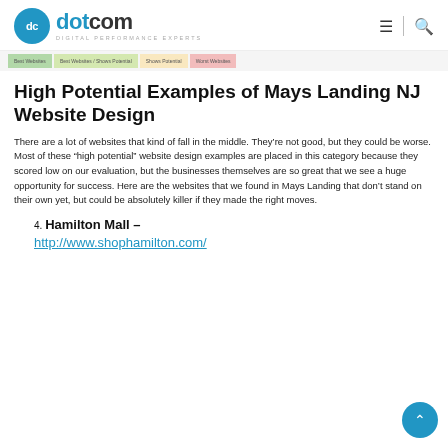dotcom DIGITAL PERFORMANCE EXPERTS
[Figure (other): Color-coded category bar strip showing: Best Websites, Best Websites / Shows Potential, Shows Potential, Worst Websites]
High Potential Examples of Mays Landing NJ Website Design
There are a lot of websites that kind of fall in the middle. They’re not good, but they could be worse. Most of these “high potential” website design examples are placed in this category because they scored low on our evaluation, but the businesses themselves are so great that we see a huge opportunity for success. Here are the websites that we found in Mays Landing that don’t stand on their own yet, but could be absolutely killer if they made the right moves.
4. Hamilton Mall – http://www.shophamilton.com/